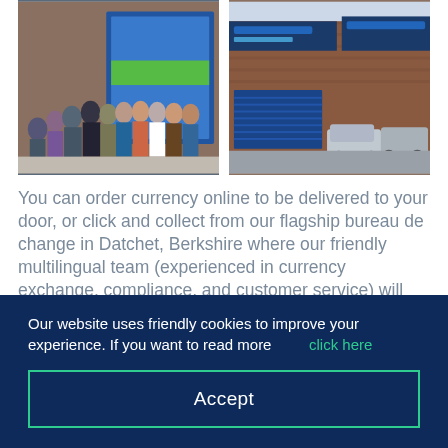[Figure (photo): Group of people standing in front of a currency exchange bureau (Travel Money) with a brick building facade and blue doors]
[Figure (photo): Exterior of a brick commercial building with blue roller doors and signage, a car park visible]
You can order currency online to be delivered to your door, or click and collect from our flagship bureau de change in Datchet, Berkshire where our friendly multilingual team (experienced in currency exchange, compliance, and customer service) will ensure that you have the best possible experience.
Our website uses friendly cookies to improve your experience. If you want to read more click here
Accept